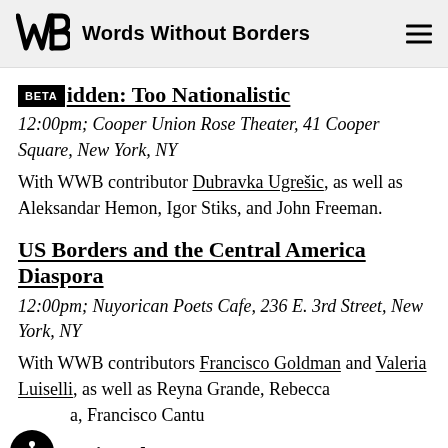Words Without Borders
Forbidden: Too Nationalistic
12:00pm; Cooper Union Rose Theater, 41 Cooper Square, New York, NY
With WWB contributor Dubravka Ugrešic, as well as Aleksandar Hemon, Igor Stiks, and John Freeman.
US Borders and the Central America Diaspora
12:00pm; Nuyorican Poets Cafe, 236 E. 3rd Street, New York, NY
With WWB contributors Francisco Goldman and Valeria Luiselli, as well as Reyna Grande, Rebecca a, Francisco Cantu
Women in Ink